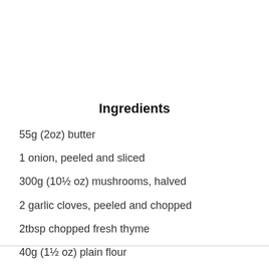Ingredients
55g (2oz) butter
1 onion, peeled and sliced
300g (10½ oz) mushrooms, halved
2 garlic cloves, peeled and chopped
2tbsp chopped fresh thyme
40g (1½ oz) plain flour